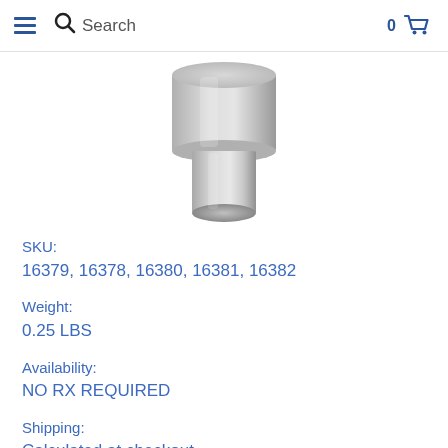Search
[Figure (photo): 3D rendered image of a cylindrical medical/industrial part — a stepped metal cylinder, larger diameter on top narrowing to smaller diameter at bottom, silver-gray metallic finish]
SKU:
16379, 16378, 16380, 16381, 16382
Weight:
0.25 LBS
Availability:
NO RX REQUIRED
Shipping:
Calculated at checkout
Minimum Purchase:
1 unit(s)